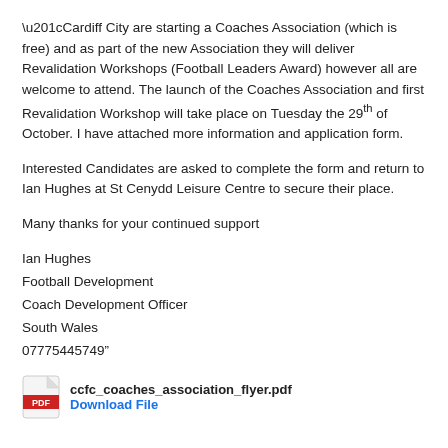“Cardiff City are starting a Coaches Association (which is free) and as part of the new Association they will deliver Revalidation Workshops (Football Leaders Award) however all are welcome to attend. The launch of the Coaches Association and first Revalidation Workshop will take place on Tuesday the 29th of October. I have attached more information and application form.
Interested Candidates are asked to complete the form and return to Ian Hughes at St Cenydd Leisure Centre to secure their place.
Many thanks for your continued support
Ian Hughes
Football Development
Coach Development Officer
South Wales
07775445749”
[Figure (other): PDF attachment icon with filename ccfc_coaches_association_flyer.pdf and a Download File link in blue]